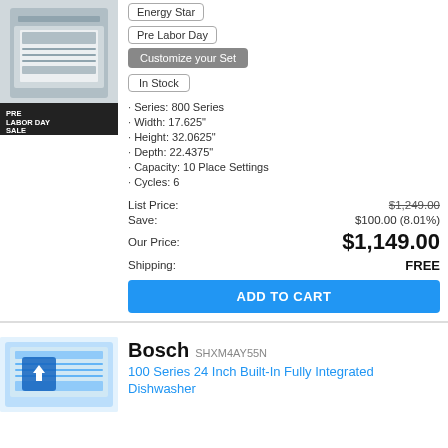[Figure (photo): Dishwasher product image with PRE LABOR DAY SALE label overlay]
Energy Star
Pre Labor Day
Customize your Set
In Stock
Series: 800 Series
Width: 17.625"
Height: 32.0625"
Depth: 22.4375"
Capacity: 10 Place Settings
Cycles: 6
List Price: $1,249.00
Save: $100.00 (8.01%)
Our Price: $1,149.00
Shipping: FREE
ADD TO CART
[Figure (photo): Bosch 100 Series dishwasher product photo]
Bosch SHXM4AY55N
100 Series 24 Inch Built-In Fully Integrated Dishwasher